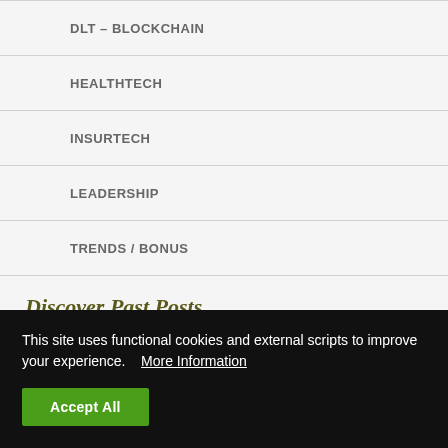DLT – BLOCKCHAIN
HEALTHTECH
INSURTECH
LEADERSHIP
TRENDS / BONUS
Discover Past Posts
► 2022
This site uses functional cookies and external scripts to improve your experience.  More Information
Accept All